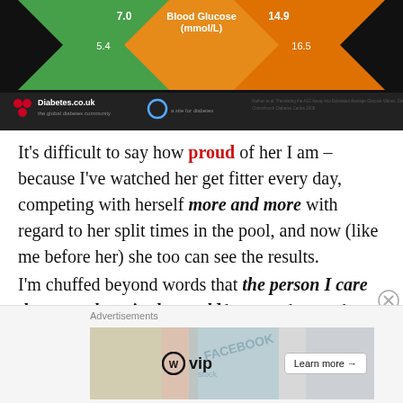[Figure (infographic): Diabetes.co.uk blood glucose infographic showing values 5.4, 7.0, 14.9, 16.5 mmol/L with color-coded arrows (green and orange) and Diabetes.co.uk logo at the bottom on a dark background.]
It’s difficult to say how proud of her I am – because I’ve watched her get fitter every day, competing with herself more and more with regard to her split times in the pool, and now (like me before her) she too can see the results.
I’m chuffed beyond words that the person I care the most about in the world has now begun the gradual process of reducing her Metformin.
[Figure (screenshot): Advertisement banner showing WordPress VIP logo and a 'Learn more' button with decorative background images (Facebook, CAKE logos visible).]